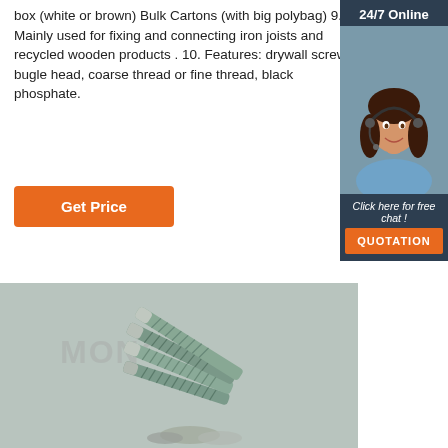box (white or brown) Bulk Cartons (with big polybag) 9. Mainly used for fixing and connecting iron joists and recycled wooden products . 10. Features: drywall screw, bugle head, coarse thread or fine thread, black phosphate.
Get Price
[Figure (photo): Customer service representative (woman with headset) with '24/7 Online' banner and 'Click here for free chat!' call-to-action, and a QUOTATION button — sidebar widget]
[Figure (photo): Product photo showing multiple drywall screws (green/zinc coated, bugle head) with 'MONC...' watermark on grey background]